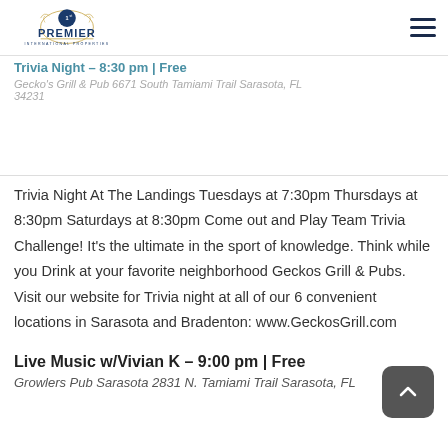1505 or online at westcoastblacktheatre.org.
[Figure (logo): 1st Premier International Properties logo with crown/dome graphic]
Trivia Night - 8:30 pm | Free
Gecko's Grill & Pub 6671 South Tamiami Trail Sarasota, FL 34231
Trivia Night At The Landings Tuesdays at 7:30pm Thursdays at 8:30pm Saturdays at 8:30pm Come out and Play Team Trivia Challenge! It's the ultimate in the sport of knowledge. Think while you Drink at your favorite neighborhood Geckos Grill & Pubs. Visit our website for Trivia night at all of our 6 convenient locations in Sarasota and Bradenton: www.GeckosGrill.com
Live Music w/Vivian K – 9:00 pm | Free
Growlers Pub Sarasota 2831 N. Tamiami Trail Sarasota, FL